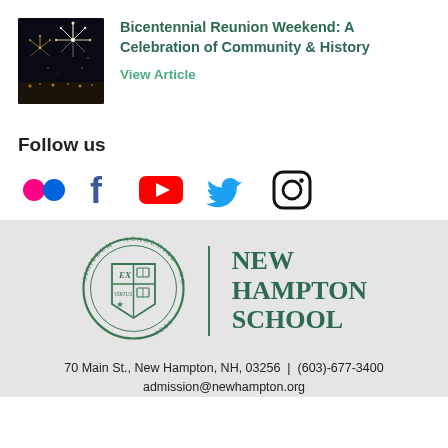[Figure (photo): Fireworks display at night with crowd and lights visible below]
Bicentennial Reunion Weekend: A Celebration of Community & History
View Article
Follow us
[Figure (infographic): Social media icons: Flickr, Facebook, YouTube, Twitter, Instagram]
[Figure (logo): New Hampton School seal with Latin text SIGILLUM ACADEMIAE NOVAE HAMPTONIENSIS, EX VIRTUS, 1821]
NEW HAMPTON SCHOOL
70 Main St., New Hampton, NH, 03256 | (603)-677-3400
admission@newhampton.org